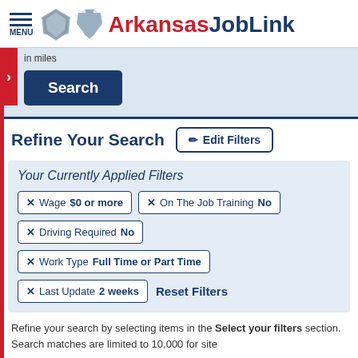MENU Arkansas JobLink
in miles
Search
Refine Your Search
Edit Filters
Your Currently Applied Filters
× Wage $0 or more
× On The Job Training No
× Driving Required No
× Work Type Full Time or Part Time
× Last Update 2 weeks
Reset Filters
Refine your search by selecting items in the Select your filters section. Search matches are limited to 10,000 for site